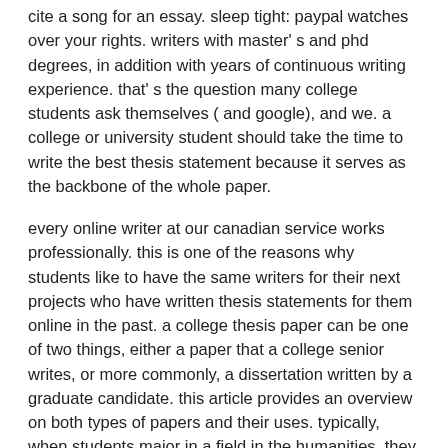cite a song for an essay. sleep tight: paypal watches over your rights. writers with master' s and phd degrees, in addition with years of continuous writing experience. that' s the question many college students ask themselves ( and google), and we. a college or university student should take the time to write the best thesis statement because it serves as the backbone of the whole paper.
every online writer at our canadian service works professionally. this is one of the reasons why students like to have the same writers for their next projects who have written thesis statements for them online in the past. a college thesis paper can be one of two things, either a paper that a college senior writes, or more commonly, a dissertation written by a graduate candidate. this article provides an overview on both types of papers and their uses. typically, when students major in a field in the humanities, they will be asked to write a thesis as a final project or in lieu of a final exam. all college or university essays come with specific challenges, some of which are quite difficult to overcome. gradually, however, the